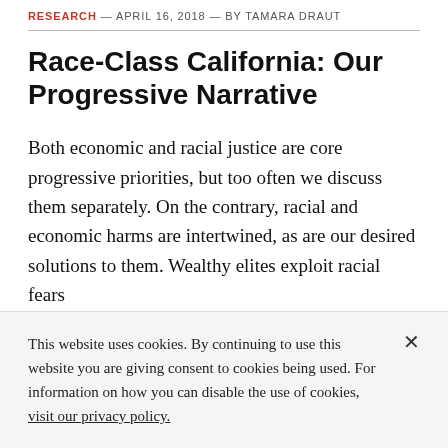RESEARCH — APRIL 16, 2018 — BY TAMARA DRAUT
Race-Class California: Our Progressive Narrative
Both economic and racial justice are core progressive priorities, but too often we discuss them separately. On the contrary, racial and economic harms are intertwined, as are our desired solutions to them. Wealthy elites exploit racial fears
This website uses cookies. By continuing to use this website you are giving consent to cookies being used. For information on how you can disable the use of cookies, visit our privacy policy.